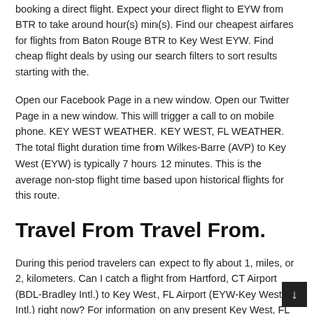booking a direct flight. Expect your direct flight to EYW from BTR to take around hour(s) min(s). Find our cheapest airfares for flights from Baton Rouge BTR to Key West EYW. Find cheap flight deals by using our search filters to sort results starting with the.
Open our Facebook Page in a new window. Open our Twitter Page in a new window. This will trigger a call to on mobile phone. KEY WEST WEATHER. KEY WEST, FL WEATHER. The total flight duration time from Wilkes-Barre (AVP) to Key West (EYW) is typically 7 hours 12 minutes. This is the average non-stop flight time based upon historical flights for this route.
Travel From Travel From.
During this period travelers can expect to fly about 1, miles, or 2, kilometers. Can I catch a flight from Hartford, CT Airport (BDL-Bradley Intl.) to Key West, FL Airport (EYW-Key West Intl.) right now? For information on any present Key West, FL Airport (EYW-Key West Intl.) quarantine requirements and travel advice, vi... the Covid Travel flight...